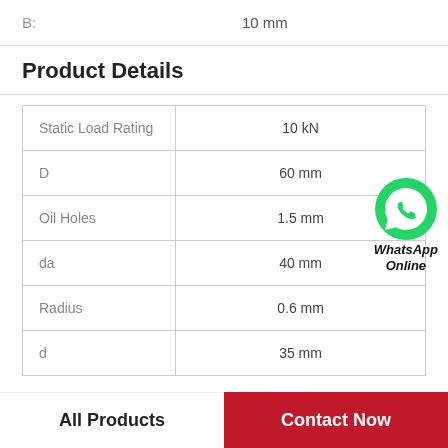B:    10 mm
Product Details
| Property | Value |
| --- | --- |
| Static Load Rating | 10 kN |
| D | 60 mm |
| Oil Holes | 1.5 mm |
| da | 40 mm |
| Radius | 0.6 mm |
| d | 35 mm |
[Figure (other): WhatsApp Online badge with green phone icon]
All Products
Contact Now